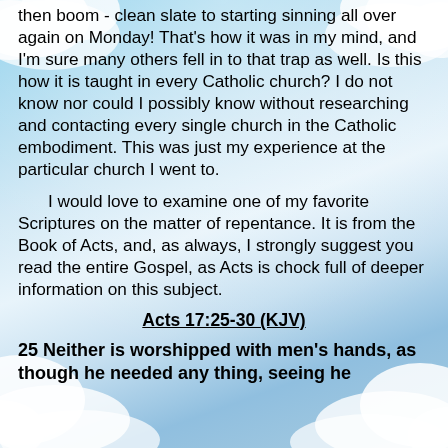then boom - clean slate to starting sinning all over again on Monday! That's how it was in my mind, and I'm sure many others fell in to that trap as well. Is this how it is taught in every Catholic church? I do not know nor could I possibly know without researching and contacting every single church in the Catholic embodiment. This was just my experience at the particular church I went to.
I would love to examine one of my favorite Scriptures on the matter of repentance. It is from the Book of Acts, and, as always, I strongly suggest you read the entire Gospel, as Acts is chock full of deeper information on this subject.
Acts 17:25-30 (KJV)
25 Neither is worshipped with men's hands, as though he needed any thing, seeing he